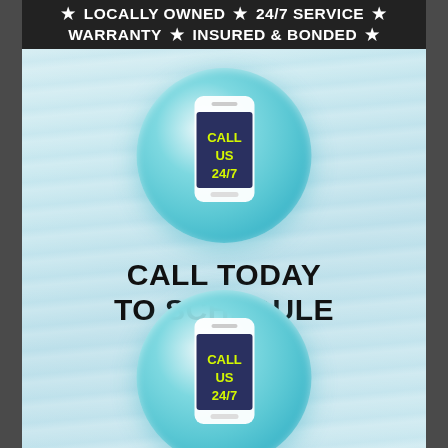LOCALLY OWNED ★ 24/7 SERVICE ★ WARRANTY ★ INSURED & BONDED ★
[Figure (illustration): Teal glossy circle button with a smartphone graphic showing 'CALL US 24/7' in yellow text on the screen]
CALL TODAY TO SCHEDULE
[Figure (illustration): Teal glossy circle button with a smartphone graphic showing 'CALL US 24/7' in yellow text on the screen]